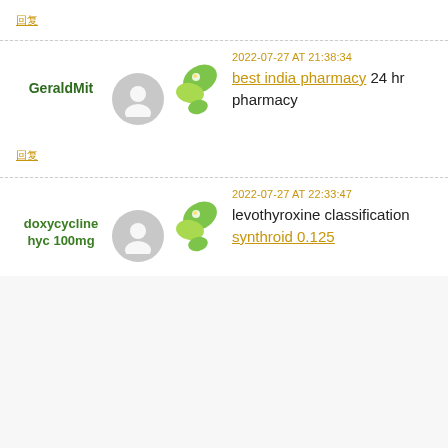回复
GeraldMit
2022-07-27 AT 21:38:34
best india pharmacy 24 hr pharmacy
回复
doxycycline hyc 100mg
2022-07-27 AT 22:33:47
levothyroxine classification synthroid 0.125